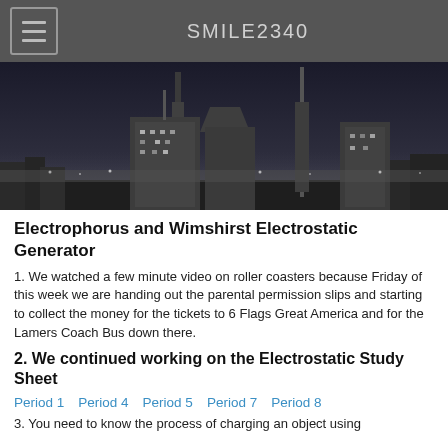SMILE2340
[Figure (photo): Black and white nighttime city skyline with tall skyscrapers and city lights]
Electrophorus and Wimshirst Electrostatic Generator
1.  We watched a few minute video on roller coasters because Friday of this week we are handing out the parental permission slips and starting to collect the money for the tickets to 6 Flags Great America and for the Lamers Coach Bus down there.
2.  We continued working on the Electrostatic Study Sheet
Period 1   Period 4   Period 5   Period 7   Period 8
3. You need to know the process of charging an object using